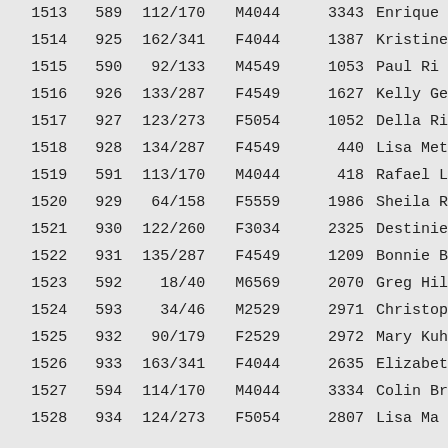| Col1 | Col2 | Col3 | Col4 | Col5 | Col6 |
| --- | --- | --- | --- | --- | --- |
| 1513 | 589 | 112/170 | M4044 | 3343 | Enrique |
| 1514 | 925 | 162/341 | F4044 | 1387 | Kristine |
| 1515 | 590 | 92/133 | M4549 | 1053 | Paul Ri |
| 1516 | 926 | 133/287 | F4549 | 1627 | Kelly Ge |
| 1517 | 927 | 123/273 | F5054 | 1052 | Della Ri |
| 1518 | 928 | 134/287 | F4549 | 440 | Lisa Met |
| 1519 | 591 | 113/170 | M4044 | 418 | Rafael L |
| 1520 | 929 | 64/158 | F5559 | 1986 | Sheila R |
| 1521 | 930 | 122/260 | F3034 | 2325 | Destinie |
| 1522 | 931 | 135/287 | F4549 | 1209 | Bonnie B |
| 1523 | 592 | 18/40 | M6569 | 2070 | Greg Hil |
| 1524 | 593 | 34/46 | M2529 | 2971 | Christop |
| 1525 | 932 | 90/179 | F2529 | 2972 | Mary Kuh |
| 1526 | 933 | 163/341 | F4044 | 2635 | Elizabet |
| 1527 | 594 | 114/170 | M4044 | 3334 | Colin Br |
| 1528 | 934 | 124/273 | F5054 | 2807 | Lisa Ma |